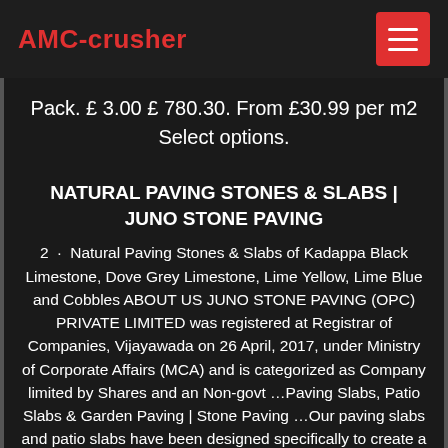AMC-crusher
Pack. £ 3.00 £ 780.30. From £30.99 per m2 Select options.
NATURAL PAVING STONES & SLABS | JUNO STONE PAVING
2 · Natural Paving Stones & Slabs of Kadappa Black Limestone, Dove Grey Limestone, Lime Yellow, Lime Blue and Cobbles ABOUT US JUNO STONE PAVING (OPC) PRIVATE LIMITED was registered at Registrar of Companies, Vijayawada on 26 April, 2017, under Ministry of Corporate Affairs (MCA) and is categorized as Company limited by Shares and an Non-govt ...Paving Slabs, Patio Slabs & Garden Paving | Stone Paving ...Our paving slabs and patio slabs have been designed specifically to create a durable, long-lasting